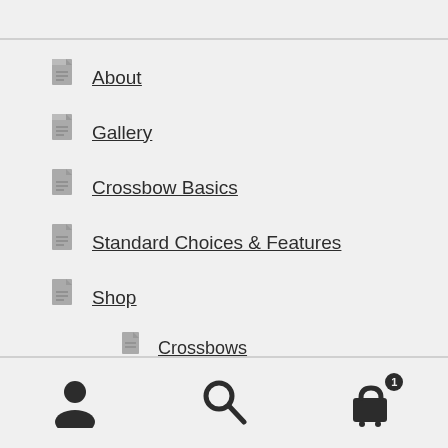About
Gallery
Crossbow Basics
Standard Choices & Features
Shop
Crossbows
Available Upgrades
Accessories
Contact
[Figure (infographic): Bottom navigation bar with user icon, search icon, and shopping cart icon with badge showing 1]